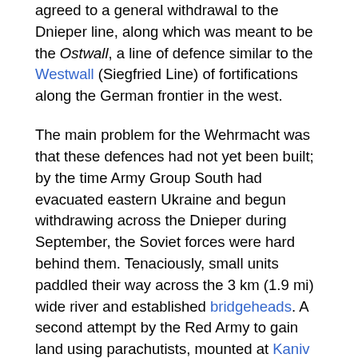agreed to a general withdrawal to the Dnieper line, along which was meant to be the Ostwall, a line of defence similar to the Westwall (Siegfried Line) of fortifications along the German frontier in the west.
The main problem for the Wehrmacht was that these defences had not yet been built; by the time Army Group South had evacuated eastern Ukraine and begun withdrawing across the Dnieper during September, the Soviet forces were hard behind them. Tenaciously, small units paddled their way across the 3 km (1.9 mi) wide river and established bridgeheads. A second attempt by the Red Army to gain land using parachutists, mounted at Kaniv on 24 September, proved as disappointing as at Dorogobuzh eighteen months previously. The paratroopers were soon repelled – but not until still more Red Army troops had used the cover they provided to get themselves over the Dnieper and securely dug in.
As September ended and October started, the Germans found the Dnieper line impossible to hold as the Soviet